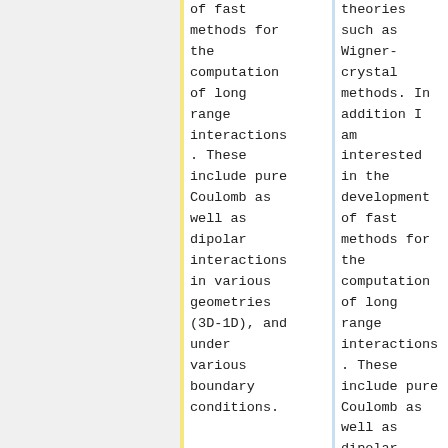of fast methods for the computation of long range interactions. These include pure Coulomb as well as dipolar interactions in various geometries (3D-1D), and under various boundary conditions.
theories such as Wigner-crystal methods. In addition I am interested in the development of fast methods for the computation of long range interactions. These include pure Coulomb as well as dipolar